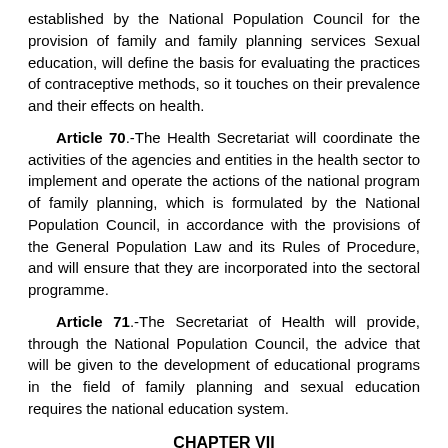established by the National Population Council for the provision of family and family planning services Sexual education, will define the basis for evaluating the practices of contraceptive methods, so it touches on their prevalence and their effects on health.
Article 70.-The Health Secretariat will coordinate the activities of the agencies and entities in the health sector to implement and operate the actions of the national program of family planning, which is formulated by the National Population Council, in accordance with the provisions of the General Population Law and its Rules of Procedure, and will ensure that they are incorporated into the sectoral programme.
Article 71.-The Secretariat of Health will provide, through the National Population Council, the advice that will be given to the development of educational programs in the field of family planning and sexual education requires the national education system.
CHAPTER VII
Mental Health
Article 72. The prevention and care of mental and